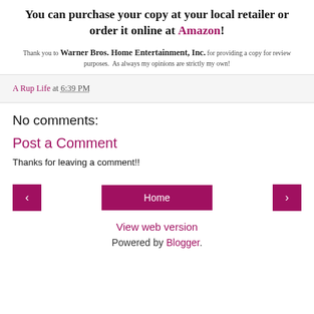You can purchase your copy at your local retailer or order it online at Amazon!
Thank you to Warner Bros. Home Entertainment, Inc. for providing a copy for review purposes. As always my opinions are strictly my own!
A Rup Life at 6:39 PM
No comments:
Post a Comment
Thanks for leaving a comment!!
< Home > View web version Powered by Blogger.